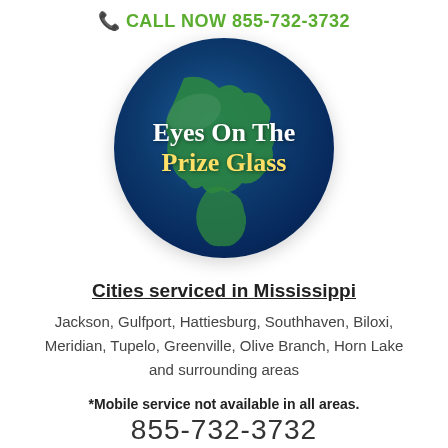CALL NOW 855-732-3732
[Figure (logo): Globe logo with white and yellow text reading 'Eyes On The Prize Glass' on a dark blue globe background showing North and South America continents]
Cities serviced in Mississippi
Jackson, Gulfport, Hattiesburg, Southhaven, Biloxi, Meridian, Tupelo, Greenville, Olive Branch, Horn Lake and surrounding areas
*Mobile service not available in all areas.
855-732-3732